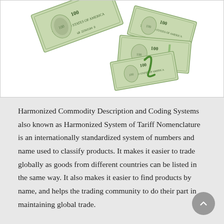[Figure (photo): Multiple US $100 dollar bills scattered and falling against a white background, showing both front and back sides of the bills in various orientations.]
Harmonized Commodity Description and Coding Systems also known as Harmonized System of Tariff Nomenclature is an internationally standardized system of numbers and name used to classify products. It makes it easier to trade globally as goods from different countries can be listed in the same way. It also makes it easier to find products by name, and helps the trading community to do their part in maintaining global trade.